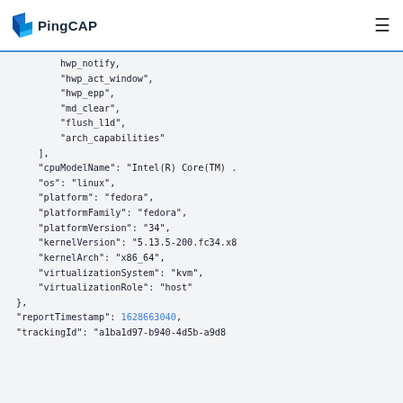PingCAP
hwp_notify,
"hwp_act_window",
"hwp_epp",
"md_clear",
"flush_l1d",
"arch_capabilities"
],
"cpuModelName": "Intel(R) Core(TM) ..."
"os": "linux",
"platform": "fedora",
"platformFamily": "fedora",
"platformVersion": "34",
"kernelVersion": "5.13.5-200.fc34.x...",
"kernelArch": "x86_64",
"virtualizationSystem": "kvm",
"virtualizationRole": "host"
},
"reportTimestamp": 1628663040,
"trackingId": "a1ba1d97-b940-4d5b-a9d..."